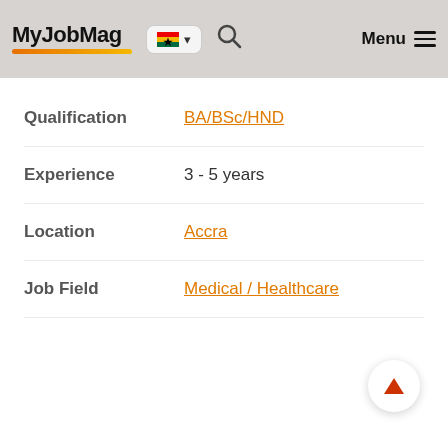MyJobMag — navigation header with Ghana flag, search icon, and Menu
| Field | Value |
| --- | --- |
| Qualification | BA/BSc/HND |
| Experience | 3 - 5 years |
| Location | Accra |
| Job Field | Medical / Healthcare |